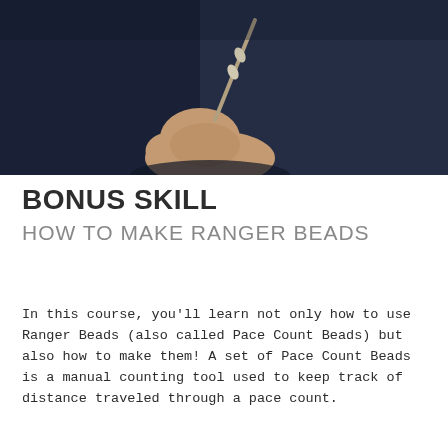[Figure (photo): A close-up photo of a hand holding a beaded cord or string, with a dark navy blue background. The hand is pinching the cord near some beads.]
BONUS SKILL
HOW TO MAKE RANGER BEADS
In this course, you'll learn not only how to use Ranger Beads (also called Pace Count Beads) but also how to make them! A set of Pace Count Beads is a manual counting tool used to keep track of distance traveled through a pace count.